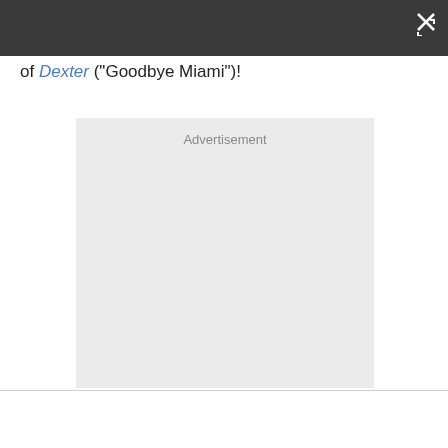of Dexter ("Goodbye Miami")!
[Figure (other): Advertisement placeholder box with label 'Advertisement']